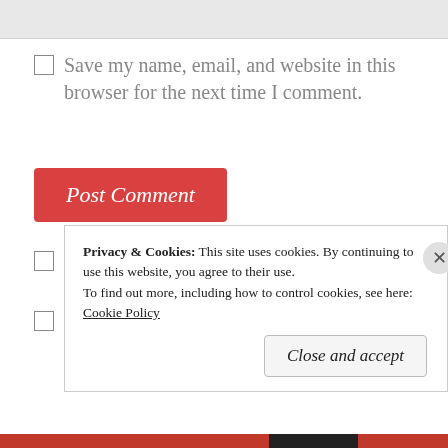Save my name, email, and website in this browser for the next time I comment.
[Figure (other): Post Comment button - red rounded rectangle with italic white text]
Notify me of new comments via email.
Notify me of new posts via email.
Privacy & Cookies: This site uses cookies. By continuing to use this website, you agree to their use. To find out more, including how to control cookies, see here: Cookie Policy
Close and accept